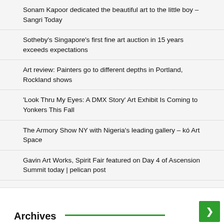Sonam Kapoor dedicated the beautiful art to the little boy – Sangri Today
Sotheby's Singapore's first fine art auction in 15 years exceeds expectations
Art review: Painters go to different depths in Portland, Rockland shows
'Look Thru My Eyes: A DMX Story' Art Exhibit Is Coming to Yonkers This Fall
The Armory Show NY with Nigeria's leading gallery – kó Art Space
Gavin Art Works, Spirit Fair featured on Day 4 of Ascension Summit today | pelican post
Why Black American Art Matters Right Now
Archives